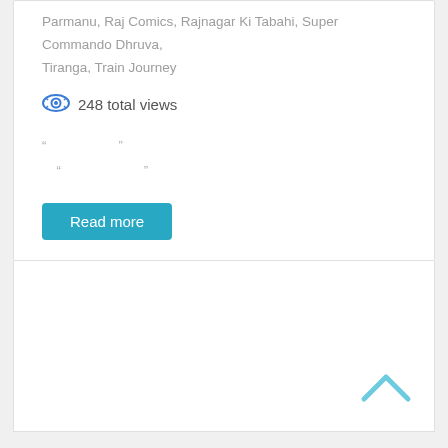Parmanu, Raj Comics, Rajnagar Ki Tabahi, Super Commando Dhruva, Tiranga, Train Journey
248 total views
" " " "
Read more
[Figure (other): Back to top chevron arrow icon in light blue]